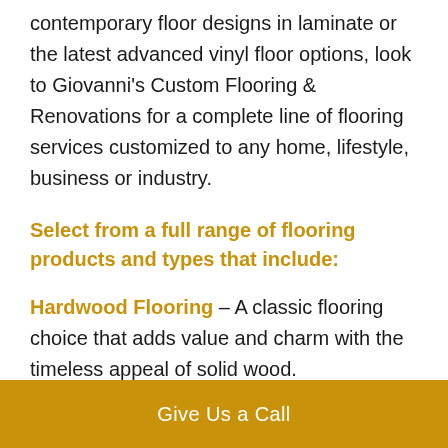contemporary floor designs in laminate or the latest advanced vinyl floor options, look to Giovanni's Custom Flooring & Renovations for a complete line of flooring services customized to any home, lifestyle, business or industry.
Select from a full range of flooring products and types that include:
Hardwood Flooring – A classic flooring choice that adds value and charm with the timeless appeal of solid wood.
Laminate Flooring– Achieve the appearance of ceramic tile or natural wood that is easy to maintain
Give Us a Call